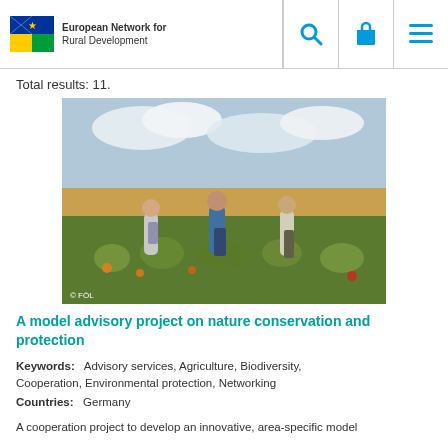European Network for Rural Development
Total results: 11.
[Figure (photo): Three people standing in a wildflower field strip alongside an agricultural field, discussing and examining plants. One person holds a folder. Photo credit: © FÖL]
A model advisory project on nature conservation and protection
Keywords: Advisory services, Agriculture, Biodiversity, Cooperation, Environmental protection, Networking
Countries: Germany
A cooperation project to develop an innovative, area-specific model